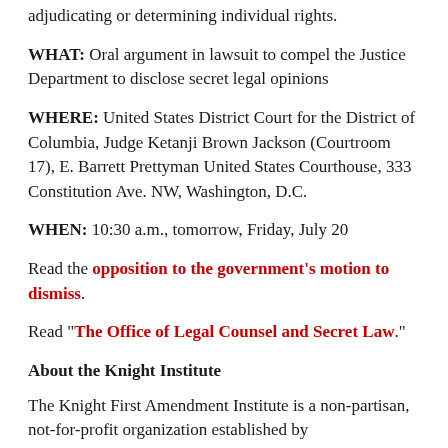adjudicating or determining individual rights.
WHAT: Oral argument in lawsuit to compel the Justice Department to disclose secret legal opinions
WHERE: United States District Court for the District of Columbia, Judge Ketanji Brown Jackson (Courtroom 17), E. Barrett Prettyman United States Courthouse, 333 Constitution Ave. NW, Washington, D.C.
WHEN: 10:30 a.m., tomorrow, Friday, July 20
Read the opposition to the government's motion to dismiss.
Read "The Office of Legal Counsel and Secret Law."
About the Knight Institute
The Knight First Amendment Institute is a non-partisan, not-for-profit organization established by